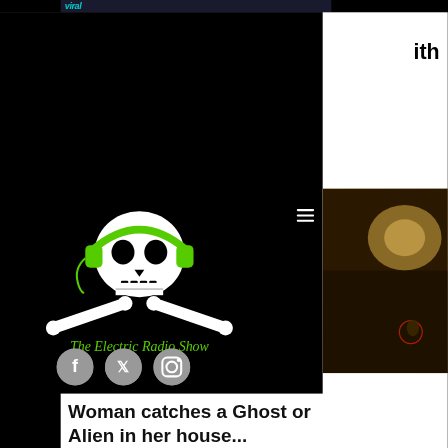[Figure (screenshot): Website screenshot showing The Electric Radio Show page. Black background with skull-and-crossbones logo wearing green headphones, text 'The Electric Radio Show' in green, social media icons (Facebook, Twitter, Instagram), and a partial right-side panel showing white space with text 'ith' and a photo of a dimly lit room. Top shows partial viral news website navigation bar.]
Woman catches a Ghost or Alien in her house...